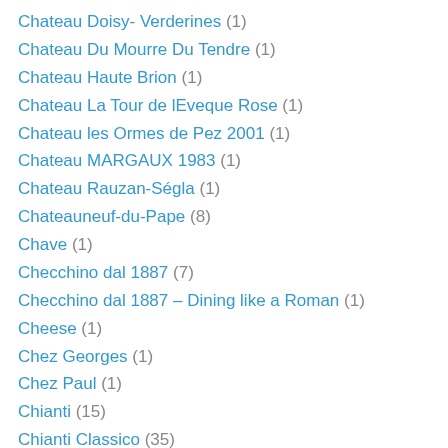Chateau Doisy- Verderines (1)
Chateau Du Mourre Du Tendre (1)
Chateau Haute Brion (1)
Chateau La Tour de lEveque Rose (1)
Chateau les Ormes de Pez 2001 (1)
Chateau MARGAUX 1983 (1)
Chateau Rauzan-Ségla (1)
Chateauneuf-du-Pape (8)
Chave (1)
Checchino dal 1887 (7)
Checchino dal 1887 – Dining like a Roman (1)
Cheese (1)
Chez Georges (1)
Chez Paul (1)
Chianti (15)
Chianti Classico (35)
Chianti Classico Gran Selectione (8)
Chianti Classico Gran Selezione (6)
Chianti Classico Montornello (1)
Chianti Colli Senesi (2)